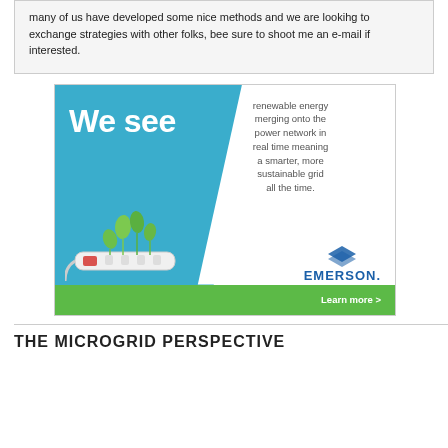many of us have developed some nice methods and we are lookihg to exchange strategies with other folks, bee sure to shoot me an e-mail if interested.
[Figure (infographic): Emerson advertisement. Blue diagonal left panel with 'We see' in large white bold text and a photo of plants growing from a power strip. Right white panel with text: 'renewable energy merging onto the power network in real time meaning a smarter, more sustainable grid all the time.' Emerson logo with blue stacked waves icon and blue bold 'EMERSON.' text. Green bar at bottom with 'Learn more >' in white.]
THE MICROGRID PERSPECTIVE